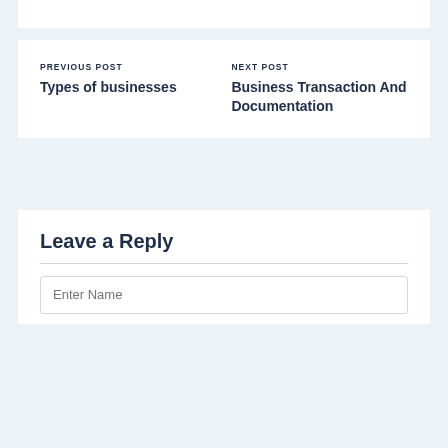PREVIOUS POST
Types of businesses
NEXT POST
Business Transaction And Documentation
Leave a Reply